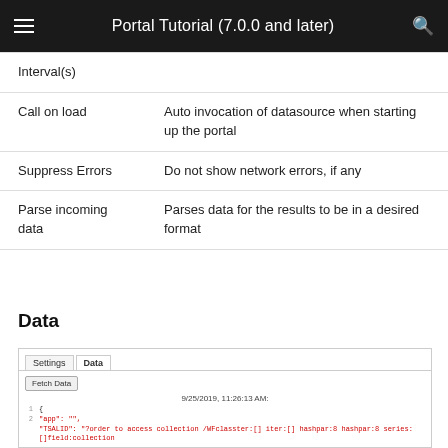Portal Tutorial (7.0.0 and later)
| Field | Description |
| --- | --- |
| Interval(s) |  |
| Call on load | Auto invocation of datasource when starting up the portal |
| Suppress Errors | Do not show network errors, if any |
| Parse incoming data | Parses data for the results to be in a desired format |
Data
[Figure (screenshot): Screenshot of Data tab UI showing Settings and Data tabs, a Fetch Data button, timestamp 9/25/2019, 11:26:13 AM, and JSON code lines beginning with { and TSALID/TSALID fields.]